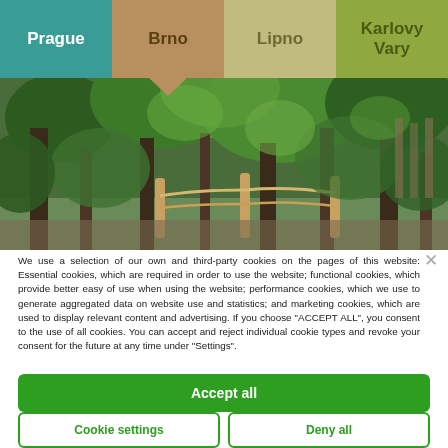Prague | Brno | Lipno | Karlovy Vary
[Figure (photo): Indoor botanical garden or greenhouse with lush tropical plants, trees, wooden posts with rope barriers, and green foliage throughout]
We use a selection of our own and third-party cookies on the pages of this website: Essential cookies, which are required in order to use the website; functional cookies, which provide better easy of use when using the website; performance cookies, which we use to generate aggregated data on website use and statistics; and marketing cookies, which are used to display relevant content and advertising. If you choose "ACCEPT ALL", you consent to the use of all cookies. You can accept and reject individual cookie types and revoke your consent for the future at any time under "Settings".
Accept all
Cookie settings
Deny all